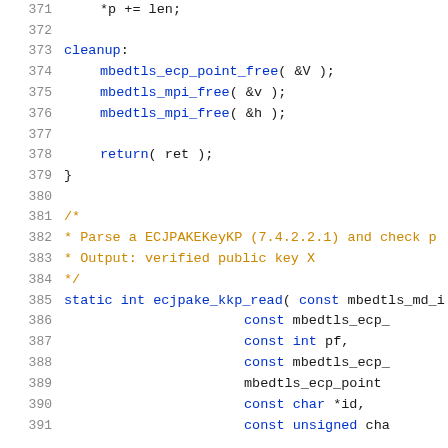371     *p += len;
372
373 cleanup:
374     mbedtls_ecp_point_free( &V );
375     mbedtls_mpi_free( &v );
376     mbedtls_mpi_free( &h );
377
378     return( ret );
379 }
380
381 /*
382  * Parse a ECJPAKEKeyKP (7.4.2.2.1) and check p
383  * Output: verified public key X
384  */
385 static int ecjpake_kkp_read( const mbedtls_md_i
386                               const mbedtls_ecp_
387                               const int pf,
388                               const mbedtls_ecp_
389                               mbedtls_ecp_point
390                               const char *id,
391                               const unsigned cha